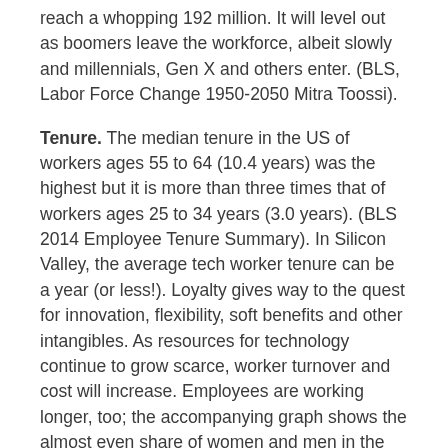reach a whopping 192 million. It will level out as boomers leave the workforce, albeit slowly and millennials, Gen X and others enter. (BLS, Labor Force Change 1950-2050 Mitra Toossi).
Tenure. The median tenure in the US of workers ages 55 to 64 (10.4 years) was the highest but it is more than three times that of workers ages 25 to 34 years (3.0 years). (BLS 2014 Employee Tenure Summary). In Silicon Valley, the average tech worker tenure can be a year (or less!). Loyalty gives way to the quest for innovation, flexibility, soft benefits and other intangibles. As resources for technology continue to grow scarce, worker turnover and cost will increase. Employees are working longer, too; the accompanying graph shows the almost even share of women and men in the workforce over time but also the increased participation by age.